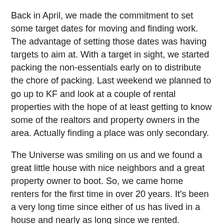Back in April, we made the commitment to set some target dates for moving and finding work. The advantage of setting those dates was having targets to aim at. With a target in sight, we started packing the non-essentials early on to distribute the chore of packing. Last weekend we planned to go up to KF and look at a couple of rental properties with the hope of at least getting to know some of the realtors and property owners in the area. Actually finding a place was only secondary.
The Universe was smiling on us and we found a great little house with nice neighbors and a great property owner to boot. So, we came home renters for the first time in over 20 years. It's been a very long time since either of us has lived in a house and nearly as long since we rented. Anyway, you look at it, we are in for an adventure.
Once we got home, the
[Figure (photo): Broken or missing image placeholder icon (small green/white icon in top-left corner of image box)]